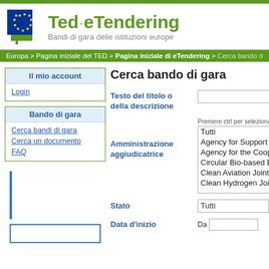[Figure (logo): Ted eTendering EU logo with European flag icon and green text 'Ted·eTendering' with subtitle 'Bandi di gara delle istituzioni europe']
Europa > Pagina iniziale del TED > Pagina iniziale di eTendering > Cerca bando d
Cerca bando di gara
Il mio account
Login
Bando di gara
Cerca bandi di gara
Cerca un documento
FAQ
Testo del titolo o della descrizione
Premere ctrl per selezionare
Amministrazione aggiudicatrice
Tutti
Agency for Support
Agency for the Coop
Circular Bio-based B
Clean Aviation Joint
Clean Hydrogen Joi
Stato
Tutti
Data d'inizio
Da